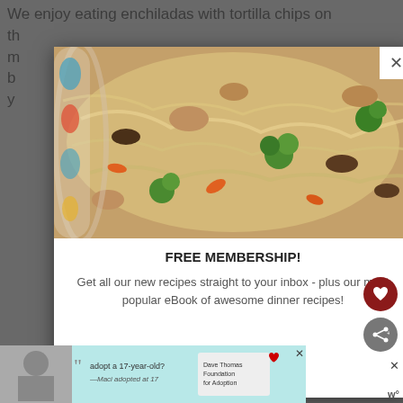We enjoy eating enchiladas with tortilla chips on th... m... b... y...
[Figure (photo): Popup modal overlay showing a stir-fry dish with noodles, broccoli, carrots, mushrooms, and chicken in a decorative bowl, with a close (X) button in the top right corner.]
FREE MEMBERSHIP!
Get all our new recipes straight to your inbox - plus our most popular eBook of awesome dinner recipes!
[Figure (photo): Advertisement banner at the bottom showing a woman and text 'adopt a 17-year-old? Maci adopted at 17' with Dave Thomas Foundation for Adoption logo.]